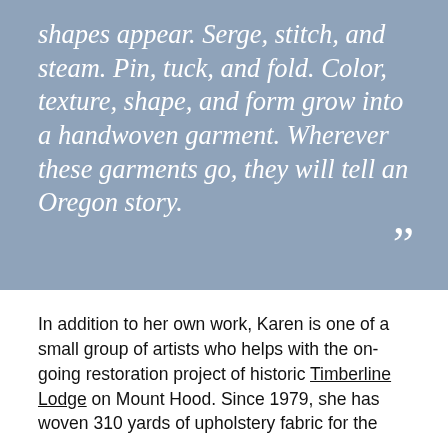shapes appear. Serge, stitch, and steam. Pin, tuck, and fold. Color, texture, shape, and form grow into a handwoven garment. Wherever these garments go, they will tell an Oregon story.
In addition to her own work, Karen is one of a small group of artists who helps with the on-going restoration project of historic Timberline Lodge on Mount Hood. Since 1979, she has woven 310 yards of upholstery fabric for the